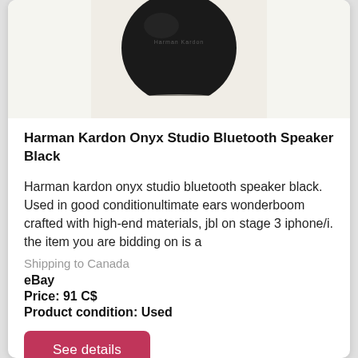[Figure (photo): Harman Kardon Onyx Studio Bluetooth Speaker, black spherical speaker against white/light background, partially cropped at top]
Harman Kardon Onyx Studio Bluetooth Speaker Black
Harman kardon onyx studio bluetooth speaker black. Used in good conditionultimate ears wonderboom crafted with high-end materials, jbl on stage 3 iphone/i. the item you are bidding on is a
Shipping to Canada
eBay
Price: 91 C$
Product condition: Used
See details